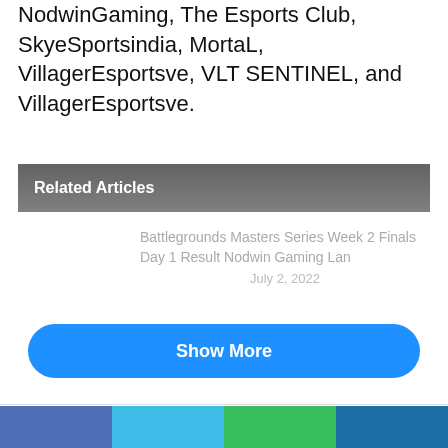NodwinGaming, The Esports Club, SkyeSportsindia, MortaL, VillagerEsportsve, VLT SENTINEL, and VillagerEsportsve.
Related Articles
Battlegrounds Masters Series Week 2 Finals Day 1 Result Nodwin Gaming Lan
July 2, 2022
Show More